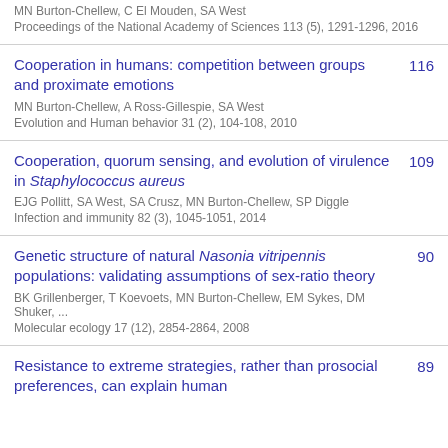MN Burton-Chellew, C El Mouden, SA West
Proceedings of the National Academy of Sciences 113 (5), 1291-1296, 2016
Cooperation in humans: competition between groups and proximate emotions | 116
MN Burton-Chellew, A Ross-Gillespie, SA West
Evolution and Human behavior 31 (2), 104-108, 2010
Cooperation, quorum sensing, and evolution of virulence in Staphylococcus aureus | 109
EJG Pollitt, SA West, SA Crusz, MN Burton-Chellew, SP Diggle
Infection and immunity 82 (3), 1045-1051, 2014
Genetic structure of natural Nasonia vitripennis populations: validating assumptions of sex-ratio theory | 90
BK Grillenberger, T Koevoets, MN Burton-Chellew, EM Sykes, DM Shuker, ...
Molecular ecology 17 (12), 2854-2864, 2008
Resistance to extreme strategies, rather than prosocial preferences, can explain human | 89